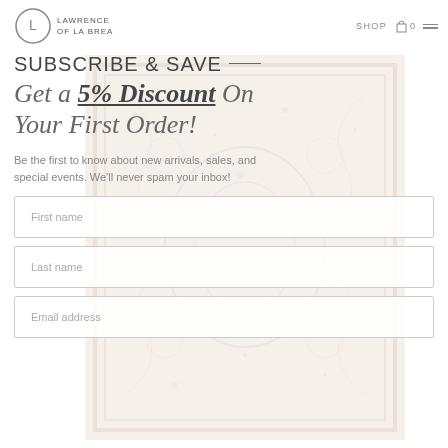Lawrence of La Brea — SHOP | 0 | Menu
[Figure (photo): Faded Persian/Oriental rug with muted rose, blue, and cream tones, displayed as semi-transparent background element]
SUBSCRIBE & SAVE —
Get a 5% Discount On Your First Order!
Be the first to know about new arrivals, sales, and special events. We'll never spam your inbox!
First name
Last name
Email address